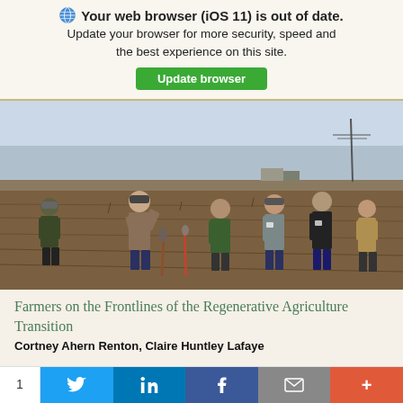Your web browser (iOS 11) is out of date. Update your browser for more security, speed and the best experience on this site. Update browser
[Figure (photo): Group of people standing in a harvested agricultural field. A speaker gestures while addressing the group. Shovels and tools are visible in the soil.]
Farmers on the Frontlines of the Regenerative Agriculture Transition
Cortney Ahern Renton, Claire Huntley Lafaye
1 SHARES | Share on Twitter | Share on LinkedIn | Share on Facebook | Email | More